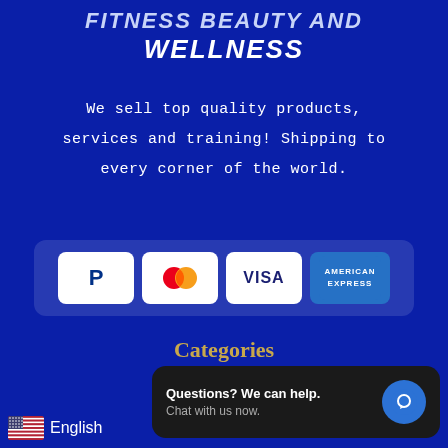FITNESS BEAUTY AND WELLNESS
We sell top quality products, services and training! Shipping to every corner of the world.
[Figure (infographic): Payment method icons: PayPal, Mastercard, Visa, American Express]
Categories
Shop ZFIT
Mi...
Questions? We can help. Chat with us now.
English